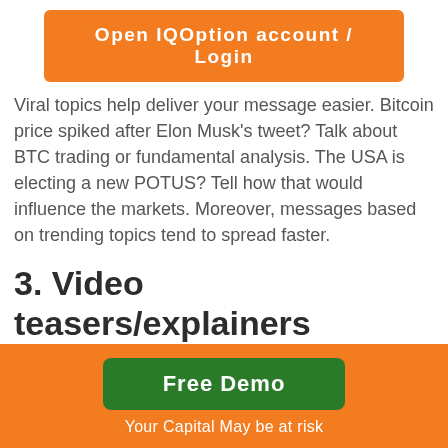[Figure (other): Orange button: Open IQOption account / Login]
Viral topics help deliver your message easier. Bitcoin price spiked after Elon Musk's tweet? Talk about BTC trading or fundamental analysis. The USA is electing a new POTUS? Tell how that would influence the markets. Moreover, messages based on trending topics tend to spread faster.
3. Video teasers/explainers
Video has proven to be another effective way to grab attention since most users prefer to learn about new products from videos.
Add a video to your landing page and make sure it
[Figure (other): Orange footer bar with green Free Demo button and text: Your Capital May be at risk]